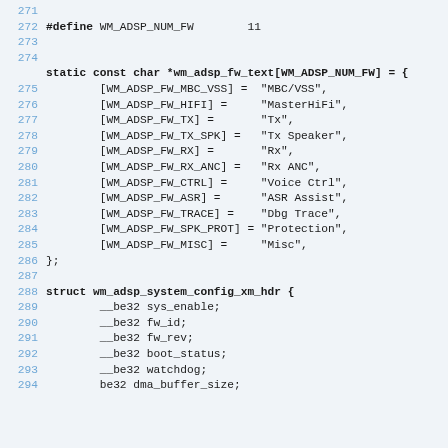[Figure (screenshot): Source code listing showing C code with line numbers 271-294. Contains a #define for WM_ADSP_NUM_FW with value 11, a static const char array initialization for wm_adsp_fw_text, and a struct definition for wm_adsp_system_config_xm_hdr with __be32 fields.]